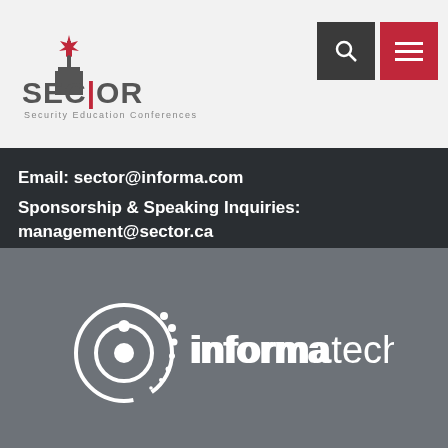[Figure (logo): SECTOR – Security Education Conferences logo with Canadian maple leaf and city skyline icon]
[Figure (screenshot): Navigation bar with dark search button (magnifying glass icon) and red hamburger menu button]
Email: sector@informa.com
Sponsorship & Speaking Inquiries:
management@sector.ca
[Figure (logo): Informa Tech white logo on gray background]